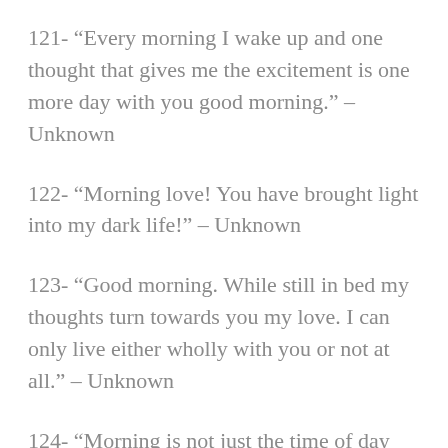121- “Every morning I wake up and one thought that gives me the excitement is one more day with you good morning.” – Unknown
122- “Morning love! You have brought light into my dark life!” – Unknown
123- “Good morning. While still in bed my thoughts turn towards you my love. I can only live either wholly with you or not at all.” – Unknown
124- “Morning is not just the time of day when you wake up. Morning is the beginning of another day